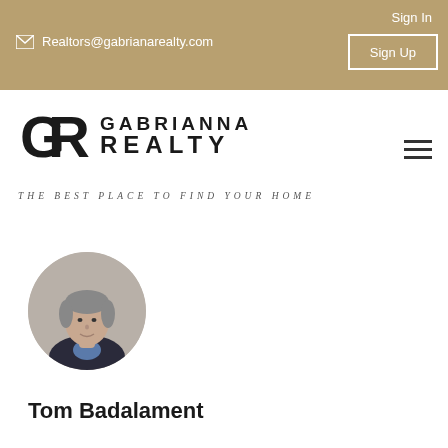Realtors@gabrianarealty.com   Sign In   Sign Up
[Figure (logo): Gabrianna Realty logo with GR monogram and text GABRIANNA REALTY]
THE BEST PLACE TO FIND YOUR HOME
[Figure (photo): Circular profile photo of Tom Badalament, a middle-aged man with grey hair wearing a dark jacket]
Tom Badalament